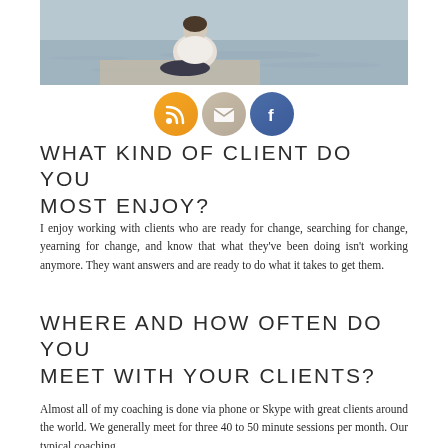[Figure (photo): Woman sitting cross-legged on a dock by water, wearing white top and dark pants, viewed from behind/side. Water in background.]
[Figure (infographic): Three circular social media/contact icons: RSS feed (orange), Email/Mail (tan/beige), Facebook (blue)]
WHAT KIND OF CLIENT DO YOU MOST ENJOY?
I enjoy working with clients who are ready for change, searching for change, yearning for change, and know that what they’ve been doing isn’t working anymore. They want answers and are ready to do what it takes to get them.
WHERE AND HOW OFTEN DO YOU MEET WITH YOUR CLIENTS?
Almost all of my coaching is done via phone or Skype with great clients around the world. We generally meet for three 40 to 50 minute sessions per month. Our typical coaching